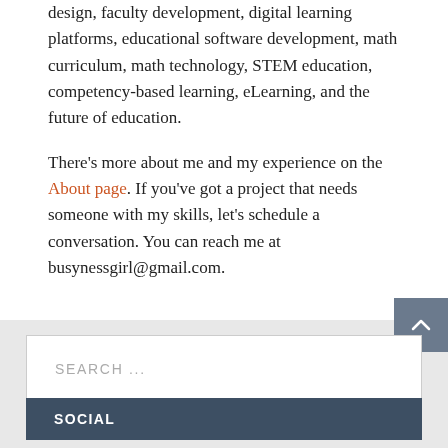design, faculty development, digital learning platforms, educational software development, math curriculum, math technology, STEM education, competency-based learning, eLearning, and the future of education.
There's more about me and my experience on the About page. If you've got a project that needs someone with my skills, let's schedule a conversation. You can reach me at busynessgirl@gmail.com.
SEARCH ...
SOCIAL